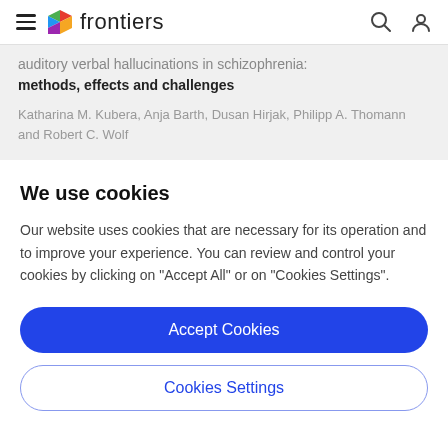frontiers
auditory verbal hallucinations in schizophrenia: methods, effects and challenges
Katharina M. Kubera, Anja Barth, Dusan Hirjak, Philipp A. Thomann and Robert C. Wolf
We use cookies
Our website uses cookies that are necessary for its operation and to improve your experience. You can review and control your cookies by clicking on "Accept All" or on "Cookies Settings".
Accept Cookies
Cookies Settings